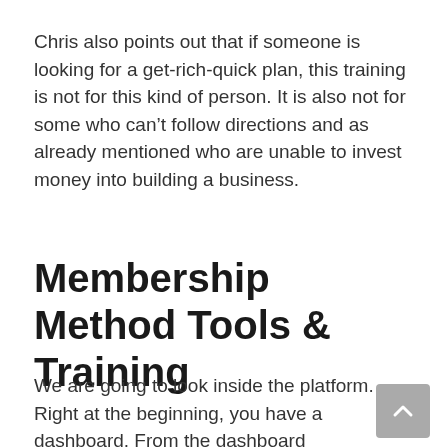Chris also points out that if someone is looking for a get-rich-quick plan, this training is not for this kind of person. It is also not for some who can’t follow directions and as already mentioned who are unable to invest money into building a business.
Membership Method Tools & Training
We are going to look inside the platform. Right at the beginning, you have a dashboard. From the dashboard